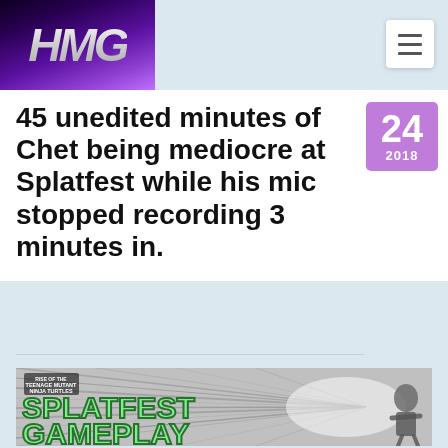HMG
45 unedited minutes of Chet being mediocre at Splatfest while his mic stopped recording 3 minutes in.
[Figure (screenshot): Thumbnail image showing 'SPLATFEST GAMEPLAY' text in green pixel-style font over a black-and-white manga-style action background with TMNT branding logo in top left corner and a ninja turtle figure on the right.]